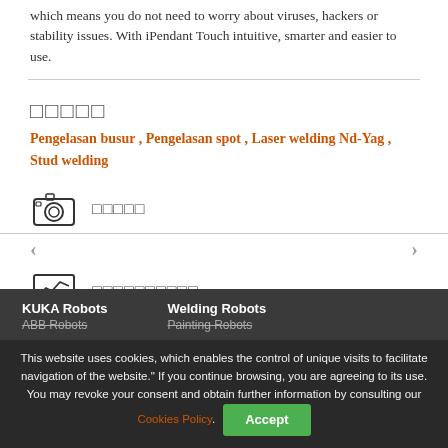which means you do not need to worry about viruses, hackers or stability issues. With iPendant Touch intuitive, smarter and easier to use.
□□□□□
Pengelasan busur , Pengelasan spot , Laser welding Nd-Yag , Stud welding
[Figure (illustration): Camera icon followed by square placeholder characters for section label]
[Figure (illustration): Monitor/chart icon followed by square placeholder characters for section label]
KUKA Robots
ABB Robots
Welding Robots
Painting Robots
This website uses cookies, which enables the control of unique visits to facilitate navigation of the website." If you continue browsing, you are agreeing to its use. You may revoke your consent and obtain further information by consulting our Cookies Policy.
Accept